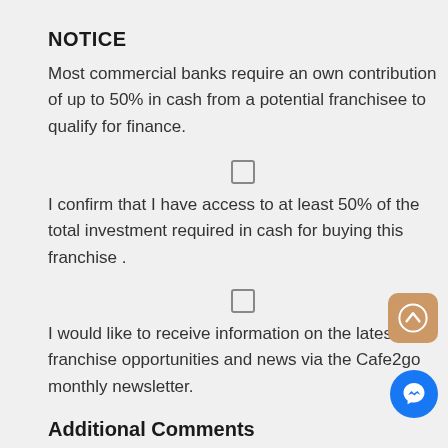NOTICE
Most commercial banks require an own contribution of up to 50% in cash from a potential franchisee to qualify for finance.
I confirm that I have access to at least 50% of the total investment required in cash for buying this franchise .
I would like to receive information on the latest franchise opportunities and news via the Cafe2go monthly newsletter.
Additional Comments